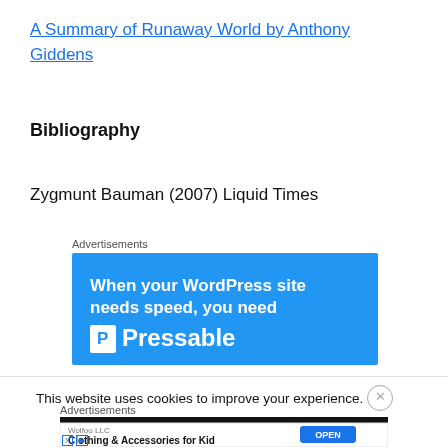A Summary of Runaway World by Anthony Giddens
Bibliography
Zygmunt Bauman (2007) Liquid Times
[Figure (screenshot): Blue advertisement banner for Pressable WordPress hosting with text 'When your WordPress site needs speed, you need Pressable']
This website uses cookies to improve your experience.
[Figure (screenshot): Bottom advertisement banner showing Wolfoo LLC - Clothing & Accessories for Kid with an OPEN button]